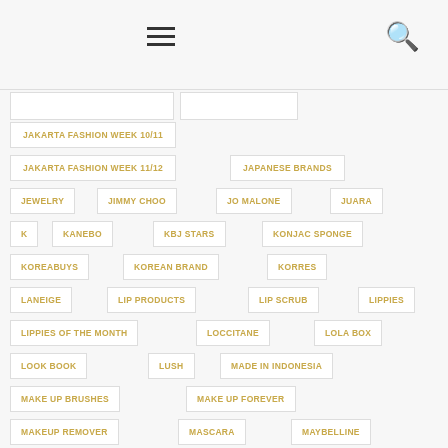Menu / Search header bar
JAKARTA FASHION WEEK 10/11
JAKARTA FASHION WEEK 11/12
JAPANESE BRANDS
JEWELRY
JIMMY CHOO
JO MALONE
JUARA
K
KANEBO
KBJ STARS
KONJAC SPONGE
KOREABUYS
KOREAN BRAND
KORRES
LANEIGE
LIP PRODUCTS
LIP SCRUB
LIPPIES
LIPPIES OF THE MONTH
LOCCITANE
LOLA BOX
LOOK BOOK
LUSH
MADE IN INDONESIA
MAKE UP BRUSHES
MAKE UP FOREVER
MAKEUP REMOVER
MASCARA
MAYBELLINE
MINI SHOWCASE
MINISO
MISSHA
MIZZU COSMETICS
MOISTURIZER